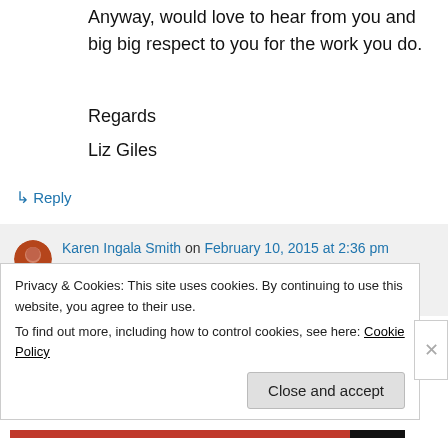Anyway, would love to hear from you and big big respect to you for the work you do.
Regards
Liz Giles
↳ Reply
Karen Ingala Smith on February 10, 2015 at 2:36 pm
Hi Liz,
Privacy & Cookies: This site uses cookies. By continuing to use this website, you agree to their use.
To find out more, including how to control cookies, see here: Cookie Policy
Close and accept